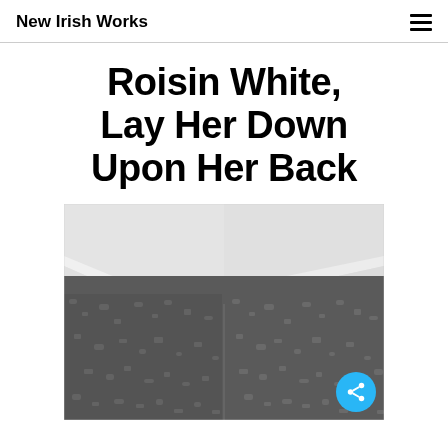New Irish Works
Roisin White, Lay Her Down Upon Her Back
[Figure (photo): Black and white photograph of a room corner showing textured wallpaper meeting at a corner, with white crown molding at the top. The image shows the intersection of two walls with patterned wallpaper and a plain white ceiling with cornice.]